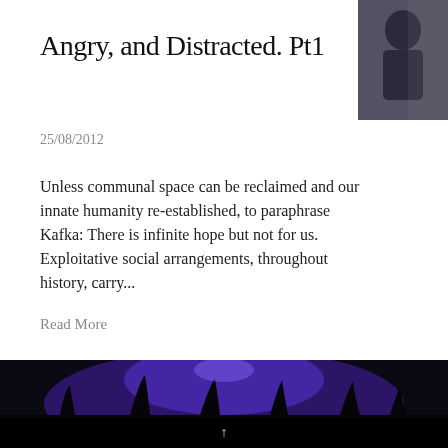[Figure (photo): Small thumbnail photo in top-right corner showing a person, dark tones]
Angry, and Distracted. Pt1
25/08/2012
Unless communal space can be reclaimed and our innate humanity re-established, to paraphrase Kafka: There is infinite hope but not for us. Exploitative social arrangements, throughout history, carry...
Read More
[Figure (photo): Dark blue/purple concert or event scene photo spanning the width of the page bottom]
↑